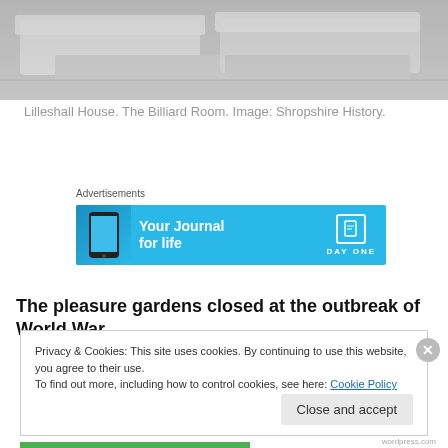[Figure (photo): Black and white photograph of Lilleshall House interior showing the Billiard Room with covered furniture/surfaces.]
Lilleshall House. The Billiard Room. Image: Shropshire History.
[Figure (screenshot): Advertisement banner for DayOne - 'Your Journal for life' app with blue background and phone graphic.]
The pleasure gardens closed at the outbreak of World War
Privacy & Cookies: This site uses cookies. By continuing to use this website, you agree to their use.
To find out more, including how to control cookies, see here: Cookie Policy
Close and accept